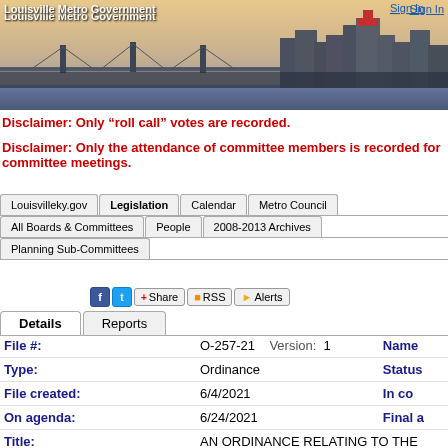Louisville Metro Government
Sign In
[Figure (photo): Louisville Metro Government header banner showing city skyline with bridge]
Disclaimer: Only “roll call” votes are recorded.
Disclaimer: Only the attendance of committee members is recorded for committee meetings.
Navigation tabs: Louisvilleky.gov | Legislation | Calendar | Metro Council | All Boards & Committees | People | 2008-2013 Archives | Planning Sub-Committees
[Figure (screenshot): Social sharing buttons: Facebook, Twitter, Share, RSS, Alerts]
Details tab | Reports tab
| Field | Value | Extra |
| --- | --- | --- |
| File #: | O-257-21    Version:  1 | Name |
| Type: | Ordinance | Status |
| File created: | 6/4/2021 | In co... |
| On agenda: | 6/24/2021 | Final a... |
| Title: | AN ORDINANCE RELATING TO THE ZONING O... 11908 EAST ORELL ROAD AND 11705 DIXIE... |  |